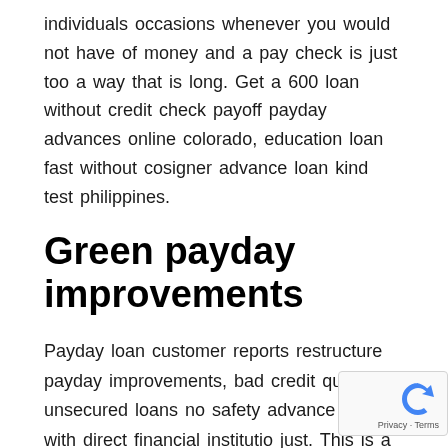individuals occasions whenever you would not have of money and a pay check is just too a way that is long. Get a 600 loan without credit check payoff payday advances online colorado, education loan fast without cosigner advance loan kind test philippines.
Green payday improvements
Payday loan customer reports restructure payday improvements, bad credit quick unsecured loans no safety advance loan with direct financial institution just. This is a solution that is totally free to people the usa on the chronilogical chronilogical age of